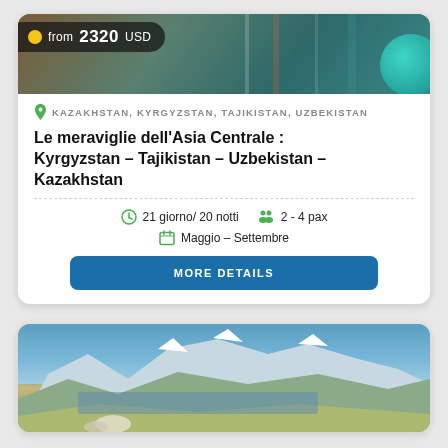[Figure (photo): Top portion of travel card showing fabric/textile market scene with teal decorative circle overlay and price badge]
KAZAKHSTAN, KYRGYZSTAN, TAJIKISTAN, UZBEKISTAN
Le meraviglie dell'Asia Centrale : Kyrgyzstan – Tajikistan – Uzbekistan – Kazakhstan
21 giorno/ 20 notti   2 - 4 pax
Maggio – Settembre
MORE DETAILS
[Figure (photo): Mountain landscape with lake and horses in foreground, snow-capped mountains in background]